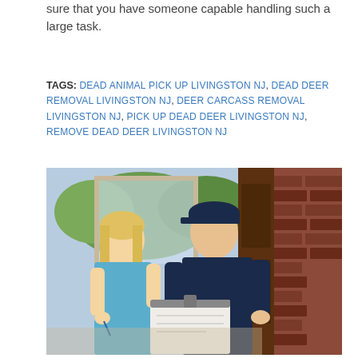sure that you have someone capable handling such a large task.
TAGS: DEAD ANIMAL PICK UP LIVINGSTON NJ, DEAD DEER REMOVAL LIVINGSTON NJ, DEER CARCASS REMOVAL LIVINGSTON NJ, PICK UP DEAD DEER LIVINGSTON NJ, REMOVE DEAD DEER LIVINGSTON NJ
[Figure (photo): A woman in a light blue top signing a document on a clipboard held by a man in a dark navy uniform and cap, standing at a doorway with brick wall and wooden door visible in background.]